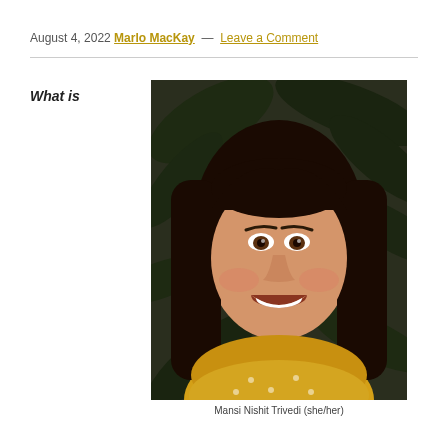August 4, 2022 Marlo MacKay — Leave a Comment
What is
[Figure (photo): Portrait photo of a young woman with long dark hair, smiling broadly, wearing a yellow floral top, photographed against a dark leafy background.]
Mansi Nishit Trivedi (she/her)